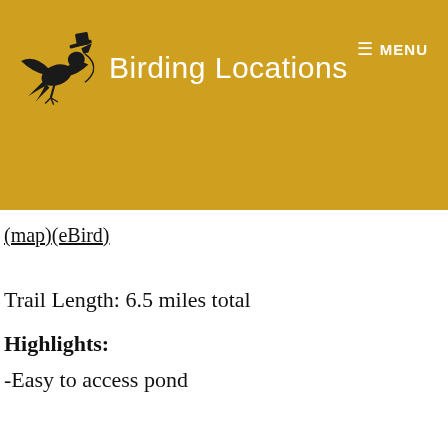[Figure (logo): Birding Locations website header with flying bird logo silhouette in black on golden/amber background, with site title 'Birding Locations' in white and a hamburger menu icon labeled 'MENU' in the top right]
(map)(eBird)
Trail Length: 6.5 miles total
Highlights:
-Easy to access pond